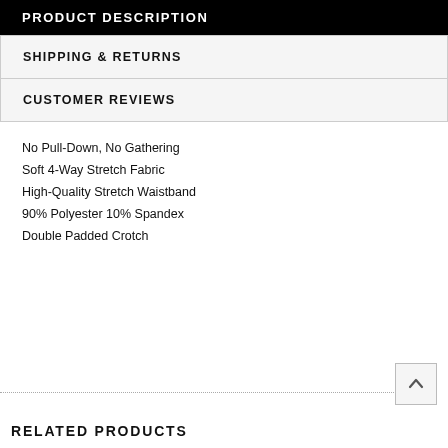PRODUCT DESCRIPTION
SHIPPING & RETURNS
CUSTOMER REVIEWS
No Pull-Down, No Gathering
Soft 4-Way Stretch Fabric
High-Quality Stretch Waistband
90% Polyester 10% Spandex
Double Padded Crotch
RELATED PRODUCTS